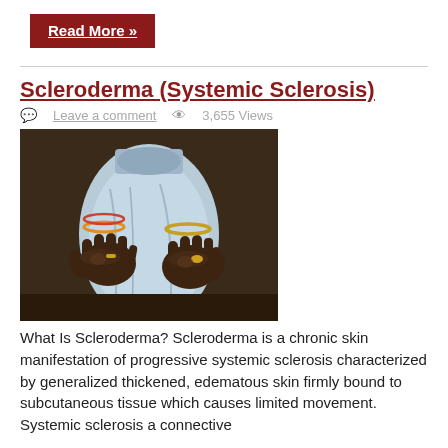Read More »
Scleroderma (Systemic Sclerosis)
Leave a comment   3,655 Views
[Figure (photo): Photo of two dark-skinned hands of a person wearing a light blue garment, with gold bangles and rings, showing skin manifestations of scleroderma.]
What Is Scleroderma? Scleroderma is a chronic skin manifestation of progressive systemic sclerosis characterized by generalized thickened, edematous skin firmly bound to subcutaneous tissue which causes limited movement. Systemic sclerosis a connective